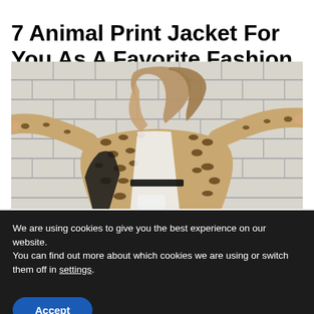7 Animal Print Jacket For You As A Favorite Fashion This Year
[Figure (photo): A woman wearing a leopard print coat with arms outstretched against a white brick wall, hair blowing in the wind, wearing white jeans and a white top with a black belt.]
We are using cookies to give you the best experience on our website.
You can find out more about which cookies we are using or switch them off in settings.
Accept